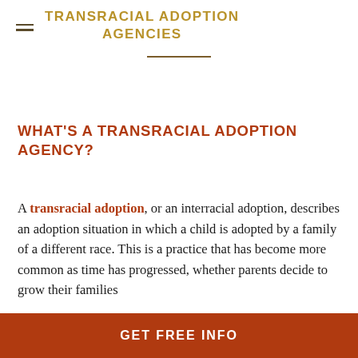TRANSRACIAL ADOPTION AGENCIES
WHAT'S A TRANSRACIAL ADOPTION AGENCY?
A transracial adoption, or an interracial adoption, describes an adoption situation in which a child is adopted by a family of a different race. This is a practice that has become more common as time has progressed, whether parents decide to grow their families through domestic or international adoption
GET FREE INFO